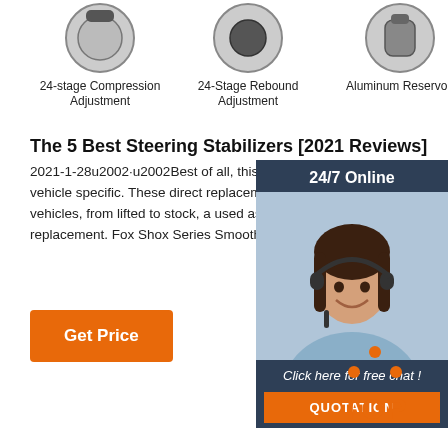[Figure (illustration): Three circular product icons at top: a knob for 24-stage Compression Adjustment, a knob for 24-Stage Rebound Adjustment, and a cylinder for Aluminum Reservoir]
24-stage Compression Adjustment
24-Stage Rebound Adjustment
Aluminum Reservoir
The 5 Best Steering Stabilizers [2021 Reviews]
2021-1-28u2002·u2002Best of all, this product leve fit and not vehicle specific. These direct replaceme be used on multiple vehicles, from lifted to stock, a used as an aftermarket kit replacement. Fox Shox Series Smooth Body IFP Stabilizers
[Figure (illustration): 24/7 Online customer service banner with a woman wearing a headset, and a 'Click here for free chat!' call to action with a QUOTATION button]
[Figure (illustration): Orange 'Get Price' button]
[Figure (illustration): Orange TOP icon with dots arranged in a triangle above the word TOP]